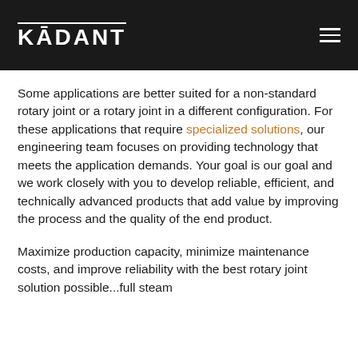KADANT
Some applications are better suited for a non-standard rotary joint or a rotary joint in a different configuration. For these applications that require specialized solutions, our engineering team focuses on providing technology that meets the application demands. Your goal is our goal and we work closely with you to develop reliable, efficient, and technically advanced products that add value by improving the process and the quality of the end product.
Maximize production capacity, minimize maintenance costs, and improve reliability with the best rotary joint solution possible...full steam